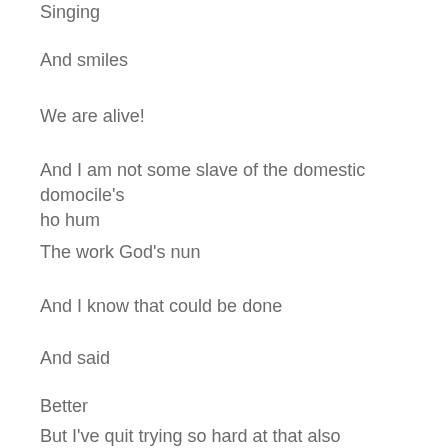Singing
And smiles
We are alive!
And I am not some slave of the domestic domocile's ho hum
The work God's nun
And I know that could be done
And said
Better
But I've quit trying so hard at that also